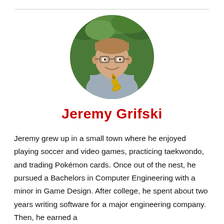[Figure (photo): Circular portrait photo of Jeremy Grifski, a young man with short hair and glasses, smiling and holding a trumpet, with green foliage in the background.]
Jeremy Grifski
Jeremy grew up in a small town where he enjoyed playing soccer and video games, practicing taekwondo, and trading Pokémon cards. Once out of the nest, he pursued a Bachelors in Computer Engineering with a minor in Game Design. After college, he spent about two years writing software for a major engineering company. Then, he earned a